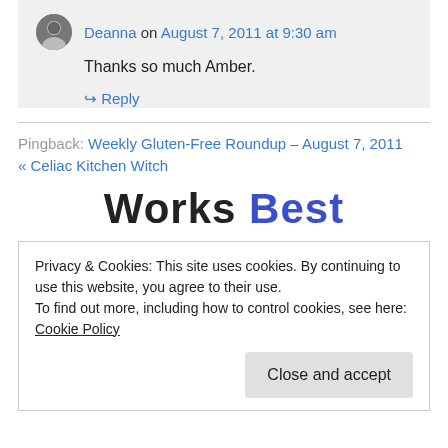Deanna on August 7, 2011 at 9:30 am
Thanks so much Amber.
↳ Reply
Pingback: Weekly Gluten-Free Roundup – August 7, 2011 « Celiac Kitchen Witch
Works Best
Privacy & Cookies: This site uses cookies. By continuing to use this website, you agree to their use. To find out more, including how to control cookies, see here: Cookie Policy
Close and accept